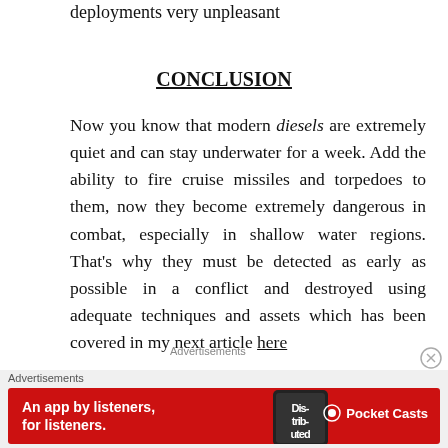deployments very unpleasant
CONCLUSION
Now you know that modern diesels are extremely quiet and can stay underwater for a week. Add the ability to fire cruise missiles and torpedoes to them, now they become extremely dangerous in combat, especially in shallow water regions. That's why they must be detected as early as possible in a conflict and destroyed using adequate techniques and assets which has been covered in my next article here
Advertisements
[Figure (other): Close/dismiss button (circled X icon) for advertisement]
Advertisements
[Figure (other): Red advertisement banner for Pocket Casts app reading: An app by listeners, for listeners.]